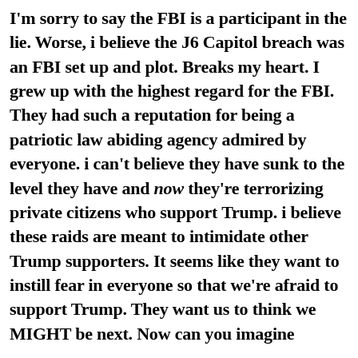I'm sorry to say the FBI is a participant in the lie. Worse, i believe the J6 Capitol breach was an FBI set up and plot. Breaks my heart. I grew up with the highest regard for the FBI. They had such a reputation for being a patriotic law abiding agency admired by everyone. i can't believe they have sunk to the level they have and now they're terrorizing private citizens who support Trump. i believe these raids are meant to intimidate other Trump supporters. It seems like they want to instill fear in everyone so that we're afraid to support Trump. They want us to think we MIGHT be next. Now can you imagine